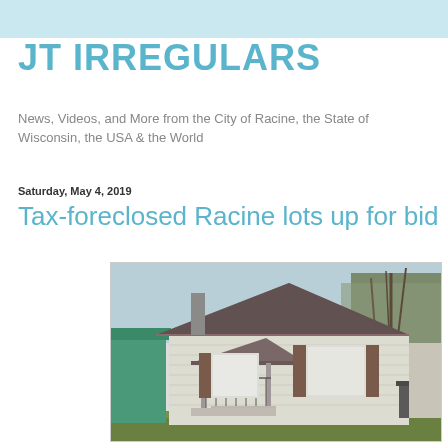JT IRREGULARS
News, Videos, and More from the City of Racine, the State of Wisconsin, the USA & the World
Saturday, May 4, 2019
Tax-foreclosed Racine lots up for bid
[Figure (photo): A run-down white clapboard house with dark shutters, a small covered porch with iron railings, boarded windows, and bare trees in the background. Green building visible on the left.]